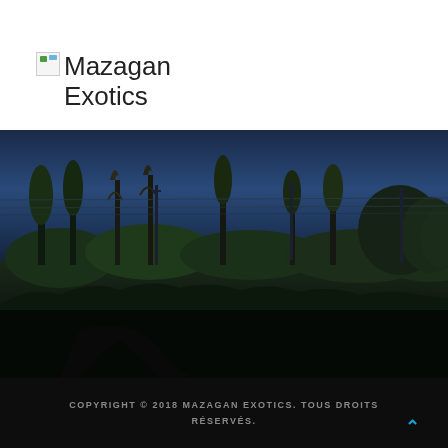[Figure (logo): Broken image placeholder icon followed by 'Mazagan Exotics' text logo]
[Figure (photo): Outdoor landscape photo showing a rural field or farm with tall trees silhouetted against a deep blue twilight sky, with green hedges and vegetation in the foreground and utility poles with wires visible]
COPYRIGHT © 2018 MAZAGAN EXOTICS. TOUS DROITS RÉSERVÉS.